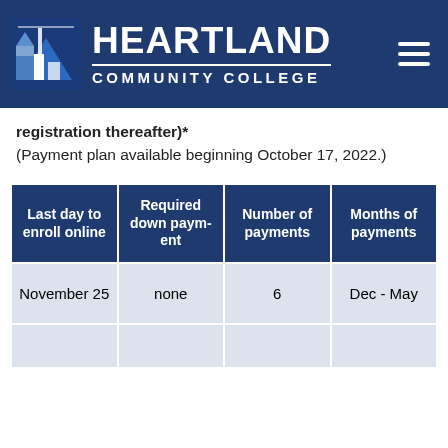Heartland Community College
registration thereafter)*
(Payment plan available beginning October 17, 2022.)
| Last day to enroll online | Required down payment | Number of payments | Months of payments |
| --- | --- | --- | --- |
| November 25 | none | 6 | Dec - May |
|  |  |  |  |